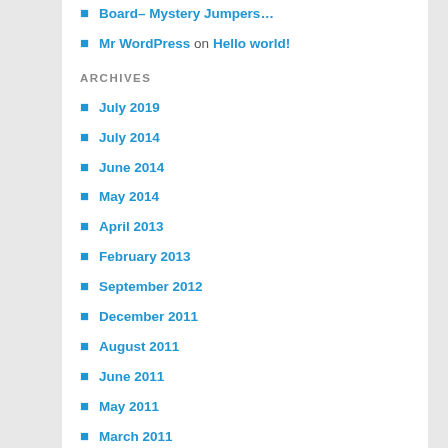Board– Mystery Jumpers…
Mr WordPress on Hello world!
ARCHIVES
July 2019
July 2014
June 2014
May 2014
April 2013
February 2013
September 2012
December 2011
August 2011
June 2011
May 2011
March 2011
February 2011
January 2011
CATEGORIES